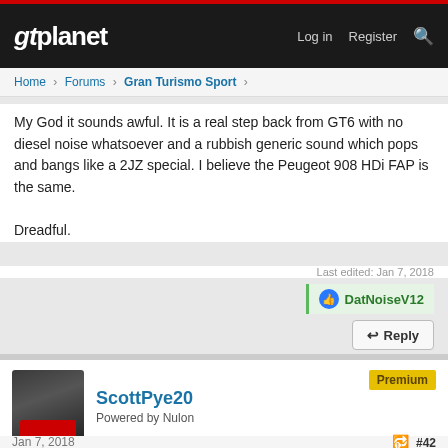gtplanet | Log in | Register
Home › Forums › Gran Turismo Sport ›
My God it sounds awful. It is a real step back from GT6 with no diesel noise whatsoever and a rubbish generic sound which pops and bangs like a 2JZ special. I believe the Peugeot 908 HDi FAP is the same.

Dreadful.
Last edited: Jan 7, 2018
DatNoiseV12
Reply
ScottPye20
Powered by Nulon
Premium
Jan 7, 2018   #42
Griffith500
That Enzo is a class above most cars in GT Sport. I will have to